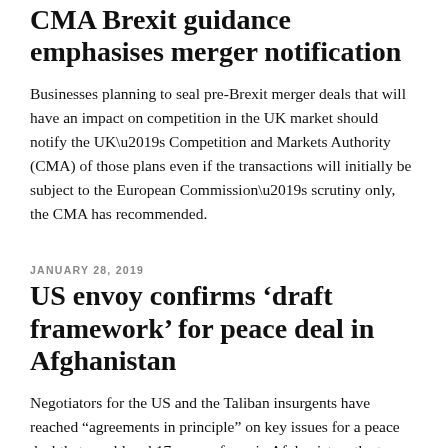CMA Brexit guidance emphasises merger notification
Businesses planning to seal pre-Brexit merger deals that will have an impact on competition in the UK market should notify the UK’s Competition and Markets Authority (CMA) of those plans even if the transactions will initially be subject to the European Commission’s scrutiny only, the CMA has recommended.
JANUARY 28, 2019
US envoy confirms ‘draft framework’ for peace deal in Afghanistan
Negotiators for the US and the Taliban insurgents have reached “agreements in principle” on key issues for a peace deal that would end 17 years of war in Afghanistan, the top US envoy said on Monday. The statement by US